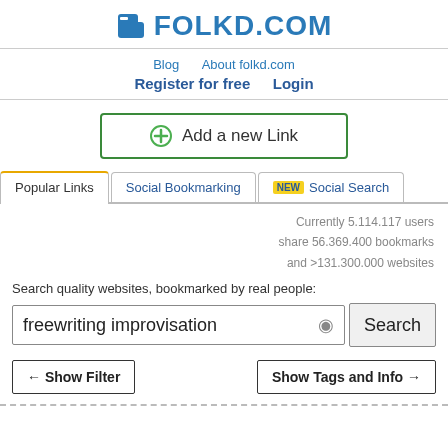FOLKD.COM
Blog   About folkd.com
Register for free   Login
[Figure (other): Add a new Link button with green border and green plus circle icon]
Popular Links   Social Bookmarking   NEW Social Search
Currently 5.114.117 users
share 56.369.400 bookmarks
and >131.300.000 websites
Search quality websites, bookmarked by real people:
freewriting improvisation
← Show Filter   Show Tags and Info →